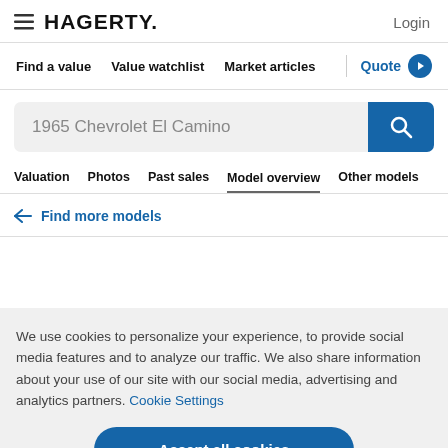HAGERTY. Login
Find a value   Value watchlist   Market articles   Quote
1965 Chevrolet El Camino
Valuation   Photos   Past sales   Model overview   Other models
← Find more models
We use cookies to personalize your experience, to provide social media features and to analyze our traffic. We also share information about your use of our site with our social media, advertising and analytics partners. Cookie Settings
Accept all cookies